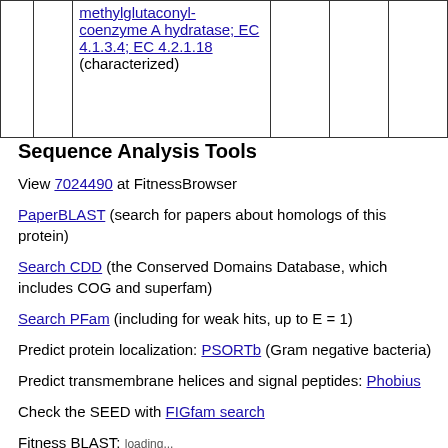|  |  |  |  |  |  |
| --- | --- | --- | --- | --- | --- |
|  |  | methylglutaconyl-coenzyme A hydratase; EC 4.1.3.4; EC 4.2.1.18 (characterized) |  |  |  |
Sequence Analysis Tools
View 7024490 at FitnessBrowser
PaperBLAST (search for papers about homologs of this protein)
Search CDD (the Conserved Domains Database, which includes COG and superfam)
Search PFam (including for weak hits, up to E = 1)
Predict protein localization: PSORTb (Gram negative bacteria)
Predict transmembrane helices and signal peptides: Phobius
Check the SEED with FIGfam search
Fitness BLAST: loading...
Sequence